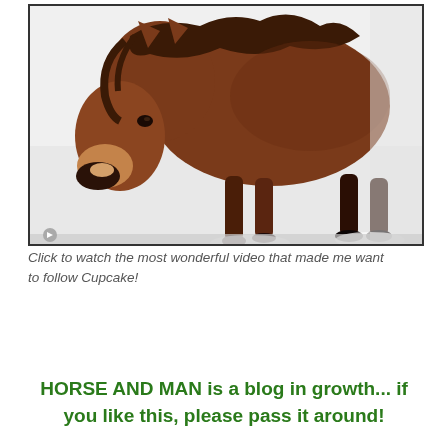[Figure (photo): A brown horse (pony) photographed in a snowy outdoor setting. The horse is facing left, showing its head and upper body. The background is white snow. The image appears to be a video screenshot with a thin black border frame and a play button indicator at the bottom left.]
Click to watch the most wonderful video that made me want to follow Cupcake!
HORSE AND MAN is a blog in growth... if you like this, please pass it around!